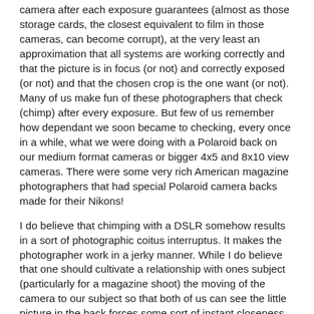camera after each exposure guarantees (almost as those storage cards, the closest equivalent to film in those cameras, can become corrupt), at the very least an approximation that all systems are working correctly and that the picture is in focus (or not) and correctly exposed (or not) and that the chosen crop is the one want (or not). Many of us make fun of these photographers that check (chimp) after every exposure. But few of us remember how dependant we soon became to checking, every once in a while, what we were doing with a Polaroid back on our medium format cameras or bigger 4x5 and 8x10 view cameras. There were some very rich American magazine photographers that had special Polaroid camera backs made for their Nikons!
I do believe that chimping with a DSLR somehow results in a sort of photographic coitus interruptus. It makes the photographer work in a jerky manner. While I do believe that one should cultivate a relationship with ones subject (particularly for a magazine shoot) the moving of the camera to our subject so that both of us can see the little picture in the back forces some sort of instant closeness that might affect one's objectivity as a magazine or newspaper